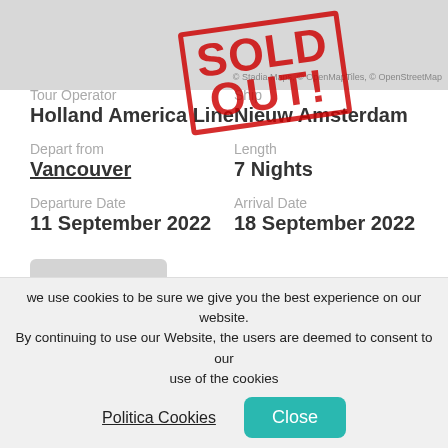[Figure (map): Partial map image showing a geographic region, with attribution to Stadia Maps, OpenMapTiles, OpenStreetMap]
[Figure (infographic): Red SOLD OUT! stamp overlaid on top of the map/page, rotated slightly counter-clockwise]
Alaska
Canada > United States
Tour Operator
Holland America Line
Ship
Nieuw Amsterdam
Depart from
Vancouver
Length
7 Nights
Departure Date
11 September 2022
Arrival Date
18 September 2022
Details
we use cookies to be sure we give you the best experience on our website. By continuing to use our Website, the users are deemed to consent to our use of the cookies
Politica Cookies
Close